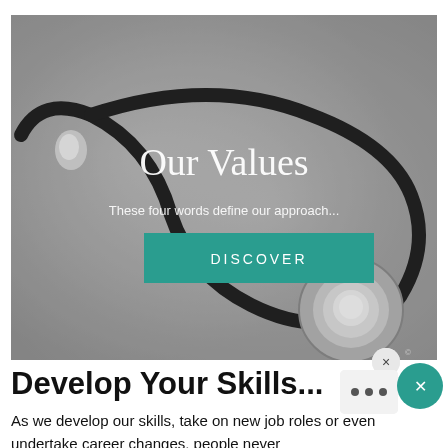[Figure (photo): Black and white photo of a stethoscope on a medical coat, with overlay text 'Our Values', subtitle 'These four words define our approach...' and a teal DISCOVER button]
Develop Your Skills...
As we develop our skills, take on new job roles or even undertake career changes, people never